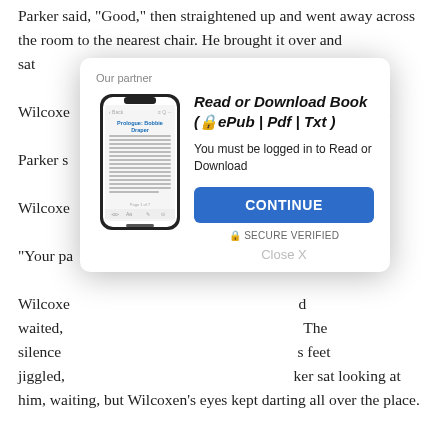Parker said, "Good," then straightened up and went away across the room to the nearest chair. He brought it over and sat [...]  in the ribs. "W[...]

Wilcoxe [...] inked a lot.

Parker s [...] rbi."

Wilcoxe [...]

"Your pa [...] rew him bac [...]

Wilcoxe [...] waited, [...] The silence [...] s feet jiggled, [...] ker sat looking at him, waiting, but Wilcoxen's eyes kept darting all over the place.
[Figure (screenshot): A modal popup dialog titled 'Our partner' containing a phone image showing a book-reading app, with title 'Read or Download Book (🔒ePub | Pdf | Txt )', text 'You must be logged in to Read or Download', a blue CONTINUE button, SECURE VERIFIED text with lock icon, and a Close X link.]